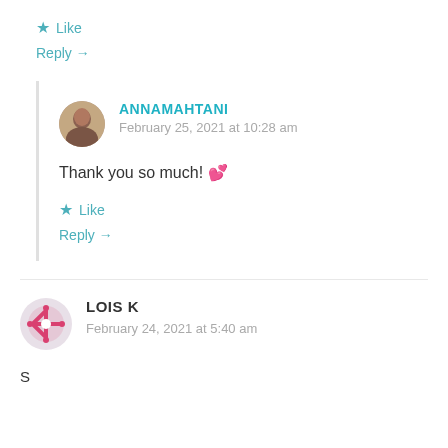★ Like
Reply →
ANNAMAHTANI — February 25, 2021 at 10:28 am — Thank you so much! 💕 — ★ Like — Reply →
LOIS K — February 24, 2021 at 5:40 am